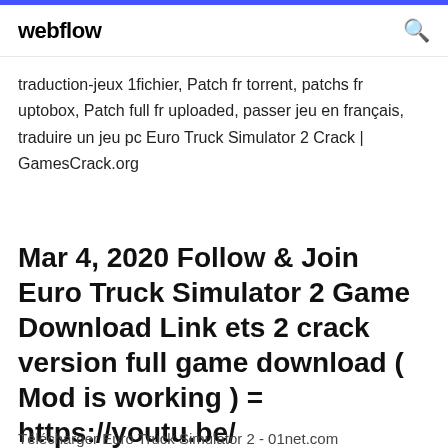webflow
traduction-jeux 1fichier, Patch fr torrent, patchs fr uptobox, Patch full fr uploaded, passer jeu en français, traduire un jeu pc Euro Truck Simulator 2 Crack | GamesCrack.org
Mar 4, 2020 Follow & Join   Euro Truck Simulator 2 Game Download Link ets 2 crack version full game download ( Mod is working ) = https://youtu.be/
Télécharger Euro Truck Simulator 2 - 01net.com